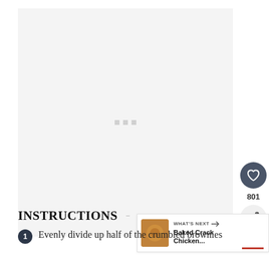[Figure (photo): Large image area showing a loading/placeholder state with three small gray squares (loading dots) in the center on a light gray background.]
INSTRUCTIONS
Evenly divide up half of the crumbled brownies